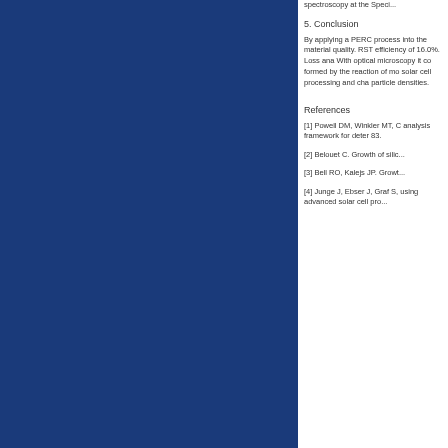spectroscopy at the Speci...
5. Conclusion
By applying a PERC process into the material quality. RST efficiency of 16.0%. Loss ana With optical microscopy it co formed by the reaction of mo solar cell processing and cha particle densities.
References
[1] Powell DM, Winkler MT, C analysis framework for deter 83.
[2] Belouet C. Growth of silio
[3] Bell RO, Kalejs JP. Growt
[4] Junge J, Ebser J, Graf S, using advanced solar cell pro